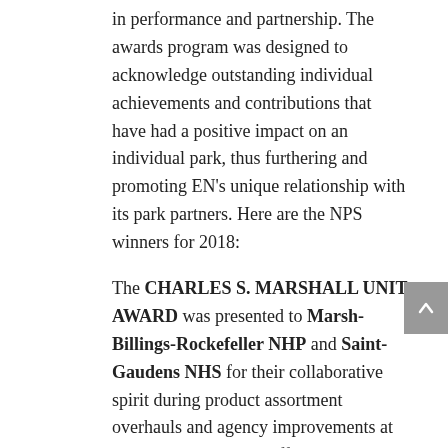in performance and partnership. The awards program was designed to acknowledge outstanding individual achievements and contributions that have had a positive impact on an individual park, thus furthering and promoting EN's unique relationship with its park partners. Here are the NPS winners for 2018:
The CHARLES S. MARSHALL UNIT AWARD was presented to Marsh-Billings-Rockefeller NHP and Saint-Gaudens NHS for their collaborative spirit during product assortment overhauls and agency improvements at both sites. The park staff's enthusiasm for the projects and willingness to diversify product lines yielded large returns, with Marsh-Billings-Rockefeller NHP seeing a 39 percent sales increase over the prior year and 29 percent over expected budget. Saint-Gaudens NHS experienced sales 24 percent over the prior year and 26 percent